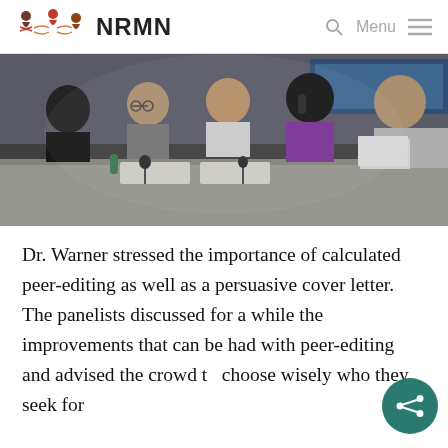NRMN
[Figure (photo): Panel discussion with five people seated at a table in a conference room. A woman in a purple top holds a microphone while speaking; another woman in a grey cardigan holds papers and faces her. Two other panelists and a man are visible in the background.]
Dr. Warner stressed the importance of calculated peer-editing as well as a persuasive cover letter. The panelists discussed for a while the improvements that can be had with peer-editing and advised the crowd to choose wisely who they seek for